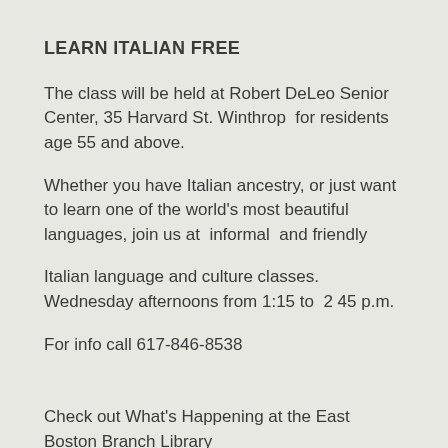LEARN ITALIAN FREE
The class will be held at Robert DeLeo Senior Center, 35 Harvard St. Winthrop  for residents age 55 and above.
Whether you have Italian ancestry, or just want to learn one of the world's most beautiful languages, join us at  informal  and friendly
Italian language and culture classes.  Wednesday afternoons from 1:15 to  2 45 p.m.
For info call 617-846-8538
Check out What's Happening at the East Boston Branch Library